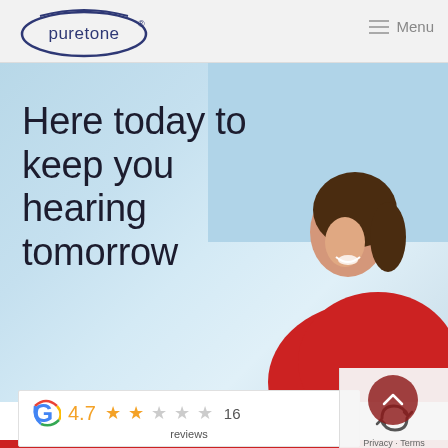[Figure (logo): Puretone logo — oval outline with 'puretone' text and registered trademark symbol in blue/navy]
≡ Menu
[Figure (photo): Hero image: woman with brown hair in red jacket smiling and looking upward against a light blue sky background]
Here today to keep you hearing tomorrow
[Figure (infographic): Google reviews widget showing G logo, rating 4.7, two filled stars and two empty stars, 16 reviews]
reviews
[Figure (other): reCAPTCHA logo and Privacy - Terms small overlay in bottom right corner]